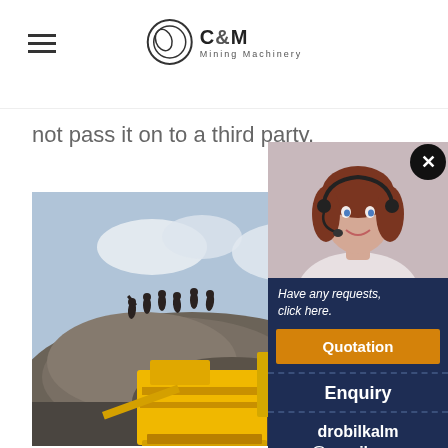C&M Mining Machinery
not pass it on to a third party.
[Figure (photo): Mining site with yellow heavy crusher/screening machinery in foreground and workers standing on a rock pile in the background against a cloudy sky.]
[Figure (photo): Customer service agent (woman with headset) chat widget panel on the right side, with options for Quotation, Enquiry, email drobilkalm@gmail.com, and Chat button.]